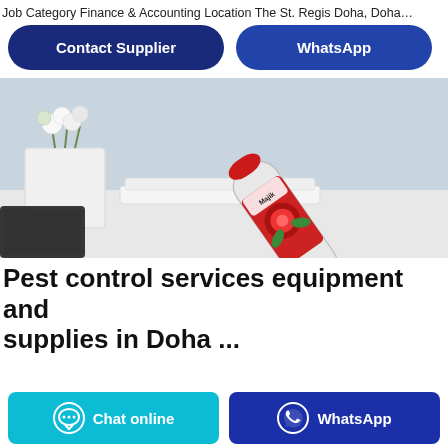Job Category Finance & Accounting Location The St. Regis Doha, Doha…
Contact Supplier
WhatsApp
[Figure (photo): A spray can of air freshener (red label with rose design) lying on a white surface next to folded white towels and a white vase with white flowers. A dark laptop partially visible at lower left.]
Pest control services equipment and supplies in Doha ...
Chat online
WhatsApp